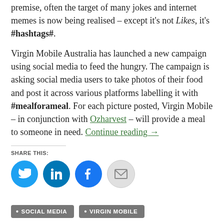premise, often the target of many jokes and internet memes is now being realised – except it's not Likes, it's #hashtags#.
Virgin Mobile Australia has launched a new campaign using social media to feed the hungry. The campaign is asking social media users to take photos of their food and post it across various platforms labelling it with #mealforameal. For each picture posted, Virgin Mobile – in conjunction with Ozharvest – will provide a meal to someone in need. Continue reading →
SHARE THIS:
[Figure (infographic): Four social share buttons: Twitter (blue circle with bird icon), LinkedIn (blue circle with 'in' icon), Facebook (blue circle with 'f' icon), Email (grey circle with envelope icon)]
SOCIAL MEDIA
VIRGIN MOBILE